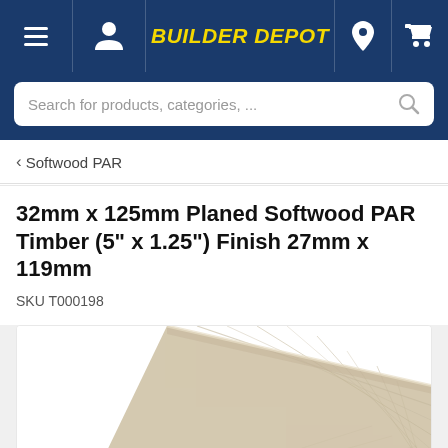BUILDER DEPOT
Search for products, categories, ...
< Softwood PAR
32mm x 125mm Planed Softwood PAR Timber (5" x 1.25") Finish 27mm x 119mm
SKU T000198
[Figure (photo): A planed softwood PAR timber plank photographed diagonally, showing light wood grain texture on a white background]